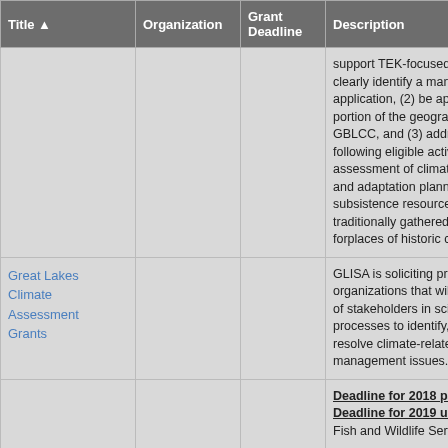| Title ▲ | Organization | Grant Deadline | Description |
| --- | --- | --- | --- |
|  |  |  | support TEK-focused proje... clearly identify a managem... application, (2) be applicab... portion of the geographic r... GBLCC, and (3) address o... following eligible activities:... assessment of climate-rela... and adaptation planning fo... subsistence resources tha... traditionally gathered or hu... forplaces of historic cultura... |
| Great Lakes Climate Assessment Grants |  |  | GLISA is soliciting proposa... organizations that will enga... of stakeholders in science-... processes to identify, asse... resolve climate-related pro... management issues. |
|  |  |  | Deadline for 2018 passed. Deadline for 2019 unknow... Fish and Wildlife Service n... |